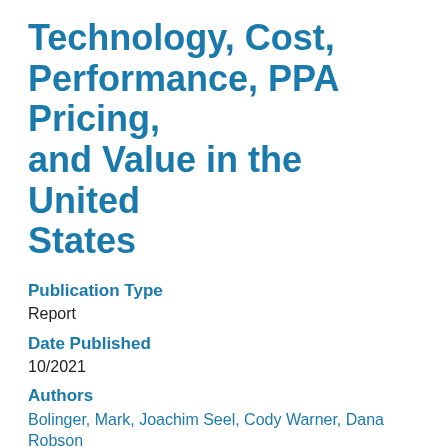Technology, Cost, Performance, PPA Pricing, and Value in the United States
Publication Type
Report
Date Published
10/2021
Authors
Bolinger, Mark, Joachim Seel, Cody Warner, Dana Robson
Abstract
Berkeley Lab's “Utility-Scale Solar, 2021 Edition” provides an overview of key trends in the U.S. market, with a focus on 2020. Highlights of this year’s update include: